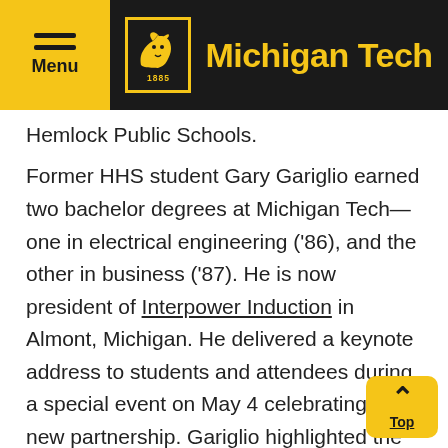Michigan Tech
Hemlock Public Schools.
Former HHS student Gary Gariglio earned two bachelor degrees at Michigan Tech—one in electrical engineering ('86), and the other in business ('87). He is now president of Interpower Induction in Almont, Michigan. He delivered a keynote address to students and attendees during a special event on May 4 celebrating the new partnership. Gariglio highlighted the value of his Michigan Tech education and emphasized the importance of perseverance in the face of adversity—giving special acknowledgement to Matt Pumford and Greg Turner of Pumford Construction for their commitment and support and the oversight and construction of the Lockwood